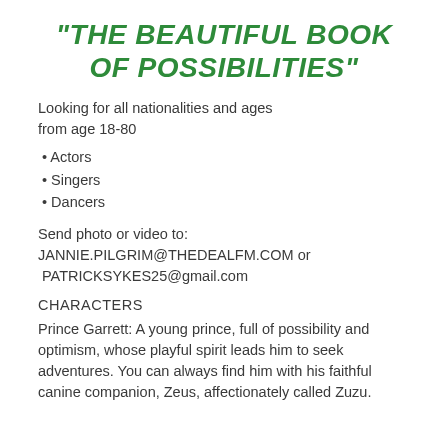“THE BEAUTIFUL BOOK OF POSSIBILITIES”
Looking for all nationalities and ages from age 18-80
• Actors
• Singers
• Dancers
Send photo or video to:
JANNIE.PILGRIM@THEDEALFM.COM or
 PATRICKSYKES25@gmail.com
CHARACTERS
Prince Garrett: A young prince, full of possibility and optimism, whose playful spirit leads him to seek adventures. You can always find him with his faithful canine companion, Zeus, affectionately called Zuzu.